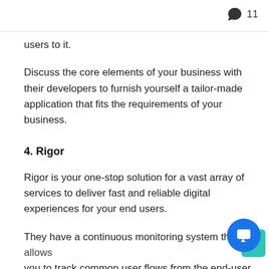11
users to it.
Discuss the core elements of your business with their developers to furnish yourself a tailor-made application that fits the requirements of your business.
4. Rigor
Rigor is your one-stop solution for a vast array of services to deliver fast and reliable digital experiences for your end users.
They have a continuous monitoring system that allows you to track common user flows from the end-user